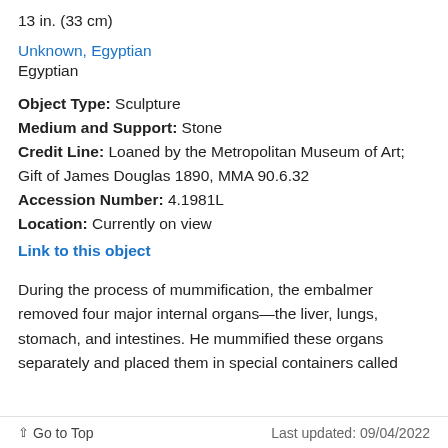13 in. (33 cm)
Unknown, Egyptian
Egyptian
Object Type: Sculpture
Medium and Support: Stone
Credit Line: Loaned by the Metropolitan Museum of Art; Gift of James Douglas 1890, MMA 90.6.32
Accession Number: 4.1981L
Location: Currently on view
Link to this object
During the process of mummification, the embalmer removed four major internal organs—the liver, lungs, stomach, and intestines. He mummified these organs separately and placed them in special containers called
Go to Top    Last updated: 09/04/2022